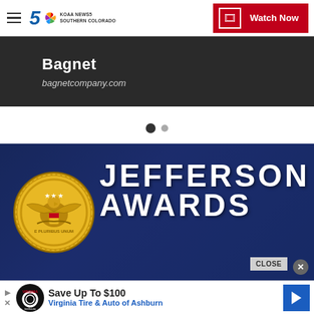KOAA News5 Southern Colorado — Watch Now
Bagnet
bagnetcompany.com
[Figure (other): Carousel pagination dots — one filled dark dot and one smaller grey dot]
[Figure (photo): Jefferson Awards promotional banner: dark blue background with blurred people silhouettes, gold Great Seal medal on the left, bold white text reading JEFFERSON AWARDS on the right. A CLOSE button with an X circle in the bottom right corner.]
[Figure (infographic): Virginia Tire & Auto of Ashburn advertisement banner: black circular logo with tire and auto graphic, bold text 'Save Up To $100', blue text 'Virginia Tire & Auto of Ashburn', blue navigation arrow icon on right, play and close icons on left.]